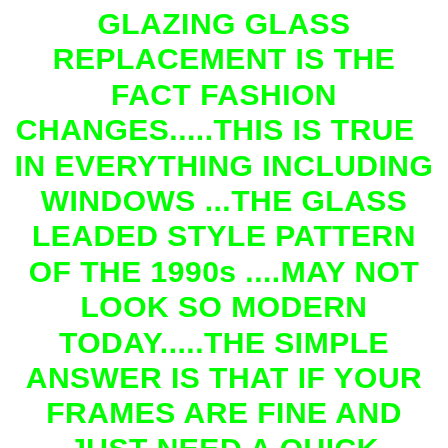GLAZING GLASS REPLACEMENT IS THE FACT FASHION CHANGES.....THIS IS TRUE   IN EVERYTHING INCLUDING WINDOWS ...THE GLASS LEADED STYLE PATTERN OF THE 1990s ....MAY NOT LOOK SO MODERN TODAY.....THE SIMPLE ANSWER IS THAT IF YOUR FRAMES ARE FINE AND JUST NEED A QUICK CLEAN ......THEN SIMPLY PUT MODERN GLAZING UNITS INTO THEM , YOU CAN CHOOSE STANDARD GLASS ...TOUGHENED SQUARE LEADED OR EVEN